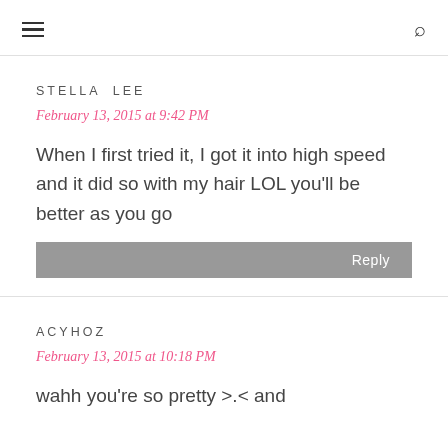≡  🔍
STELLA LEE
February 13, 2015 at 9:42 PM
When I first tried it, I got it into high speed and it did so with my hair LOL you'll be better as you go
Reply
ACYHOZ
February 13, 2015 at 10:18 PM
wahh you're so pretty >.< and